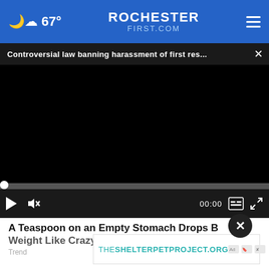67° ROCHESTER FIRST.COM
Controversial law banning harassment of first res...
[Figure (screenshot): Embedded video player with black screen, progress bar at start (00:00), playback controls including play button, mute icon, timestamp 00:00, captions button, and fullscreen button]
A Teaspoon on an Empty Stomach Drops Body Weight Like Crazy!
Trending
[Figure (other): Advertisement banner for THESHELTERPETPROJECT.ORG with AdChoices icon]